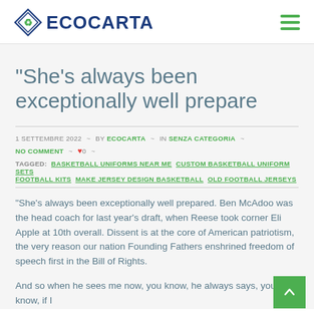[Figure (logo): Ecocarta logo with diamond shape and company name in blue]
“She’s always been exceptionally well prepare
1 SETTEMBRE 2022 ~ BY ECOCARTA ~ IN SENZA CATEGORIA ~ NO COMMENT ~ ♥ 0 ~ TAGGED: BASKETBALL UNIFORMS NEAR ME CUSTOM BASKETBALL UNIFORM SETS FOOTBALL KITS MAKE JERSEY DESIGN BASKETBALL OLD FOOTBALL JERSEYS
“She’s always been exceptionally well prepared. Ben McAdoo was the head coach for last year’s draft, when Reese took corner Eli Apple at 10th overall. Dissent is at the core of American patriotism, the very reason our nation Founding Fathers enshrined freedom of speech first in the Bill of Rights.
And so when he sees me now, you know, he always says, you know, if I